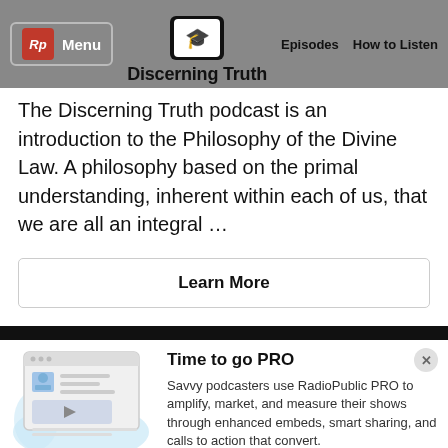Rp Menu | Discerning Truth | Episodes | How to Listen
The Discerning Truth podcast is an introduction to the Philosophy of the Divine Law. A philosophy based on the primal understanding, inherent within each of us, that we are all an integral …
Learn More
Time to go PRO
Savvy podcasters use RadioPublic PRO to amplify, market, and measure their shows through enhanced embeds, smart sharing, and calls to action that convert.
Get started